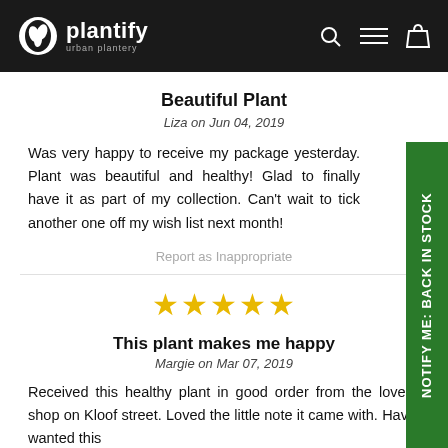plantify urban plantery
Beautiful Plant
Liza on Jun 04, 2019
Was very happy to receive my package yesterday. Plant was beautiful and healthy! Glad to finally have it as part of my collection. Can't wait to tick another one off my wish list next month!
Report as Inappropriate
[Figure (other): Five gold star rating icons]
This plant makes me happy
Margie on Mar 07, 2019
Received this healthy plant in good order from the lovely shop on Kloof street. Loved the little note it came with. Have wanted this